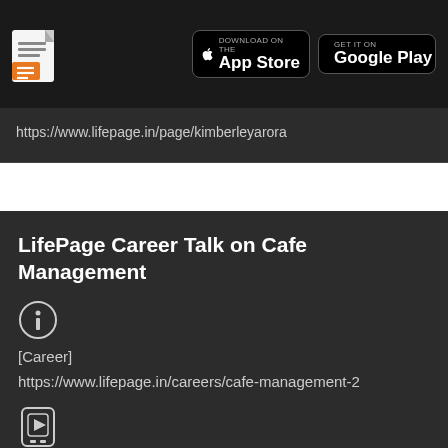[Figure (screenshot): Top navigation bar with document icon on left and App Store and Google Play download buttons on right, dark background]
https://www.lifepage.in/page/kimberleyarora
LifePage Career Talk on Cafe Management
[Career]
https://www.lifepage.in/careers/cafe-management-2
[Figure (illustration): Video/talk icon (phone with play button)]